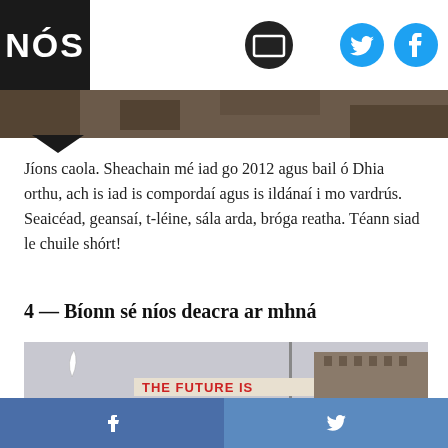NÓS
[Figure (logo): NÓS logo in white text on black background with triangle pointer]
[Figure (photo): Hero image strip with dark earth/rock texture]
Jíons caola. Sheachain mé iad go 2012 agus bail ó Dhia orthu, ach is iad is compordaí agus is ildánaí i mo vardrús. Seaicéad, geansaí, t-léine, sála arda, bróga reatha. Téann siad le chuile shórt!
4 — Bíonn sé níos deacra ar mhná
[Figure (photo): Outdoor photo showing a protest banner reading 'THE FUTURE IS' against a grey sky with buildings in background]
f  (Facebook icon)   (Twitter bird icon)